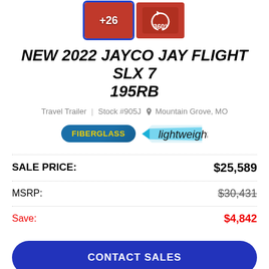[Figure (photo): Two red interior thumbnail images — one labeled '+26' and one labeled '360°']
NEW 2022 JAYCO JAY FLIGHT SLX 7 195RB
Travel Trailer  Stock #905J  Mountain Grove, MO
[Figure (logo): FIBERGLASS badge (blue rounded rectangle, yellow text) and Lightweight badge (blue script lettering with swoosh)]
|  |  |
| --- | --- |
| SALE PRICE: | $25,589 |
| MSRP: | $30,431 |
| Save: | $4,842 |
CONTACT SALES